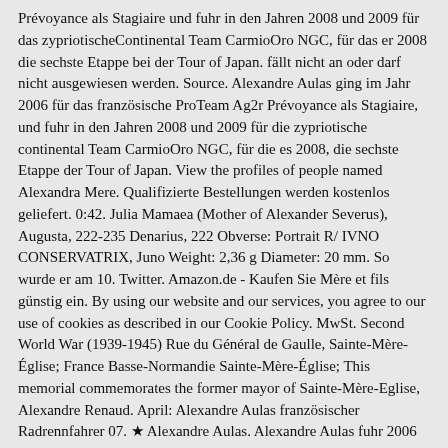Prévoyance als Stagiaire und fuhr in den Jahren 2008 und 2009 für das zypriotischeContinental Team CarmioOro NGC, für das er 2008 die sechste Etappe bei der Tour of Japan. fällt nicht an oder darf nicht ausgewiesen werden. Source. Alexandre Aulas ging im Jahr 2006 für das französische ProTeam Ag2r Prévoyance als Stagiaire, und fuhr in den Jahren 2008 und 2009 für die zypriotische continental Team CarmioOro NGC, für die es 2008, die sechste Etappe der Tour of Japan. View the profiles of people named Alexandra Mere. Qualifizierte Bestellungen werden kostenlos geliefert. 0:42. Julia Mamaea (Mother of Alexander Severus), Augusta, 222-235 Denarius, 222 Obverse: Portrait R/ IVNO CONSERVATRIX, Juno Weight: 2,36 g Diameter: 20 mm. So wurde er am 10. Twitter. Amazon.de - Kaufen Sie Mère et fils günstig ein. By using our website and our services, you agree to our use of cookies as described in our Cookie Policy. MwSt. Second World War (1939-1945) Rue du Général de Gaulle, Sainte-Mère-Église; France Basse-Normandie Sainte-Mère-Église; This memorial commemorates the former mayor of Sainte-Mère-Eglise, Alexandre Renaud. April: Alexandre Aulas französischer Radrennfahrer 07. ★ Alexandre Aulas. Alexandre Aulas fuhr 2006 für das französische ProTeam Ag2r Prévoyance als Stagiaire und fuhr in den Jahren 2008 und 2009 für das zypriotischeContinental Team CarmioOro NGC, für das